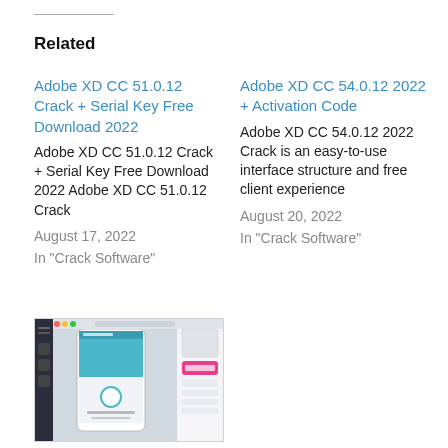Related
Adobe XD CC 51.0.12 Crack + Serial Key Free Download 2022
Adobe XD CC 51.0.12 Crack + Serial Key Free Download 2022 Adobe XD CC 51.0.12 Crack
August 17, 2022
In "Crack Software"
Adobe XD CC 54.0.12 2022 + Activation Code
Adobe XD CC 54.0.12 2022 Crack is an easy-to-use interface structure and free client experience
August 20, 2022
In "Crack Software"
[Figure (screenshot): Screenshot of Adobe XD CC showing UI design with mobile prototype and magenta button]
Adobe XD CC 54.0.12 Crack With Keygen [2022]
August 22, 2022